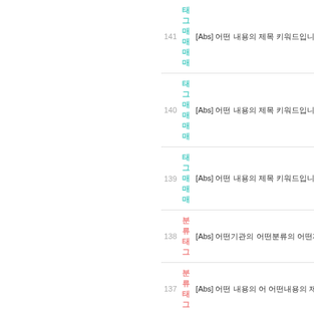141 [태그] [Abs] 어떤 내용의 제목 키워드입니다 3
140 [태그] [Abs] 어떤 내용의 제목 키워드입니다 2
139 [태그] [Abs] 어떤 내용의 제목 키워드입니다 1
138 [분류 태그] [Abs] 어떤기관의 어떤분류의 어떤제목의 제목 키입
137 [분류 태그] [Abs] 어떤 내용의 어 어떤내용의 제목 키워드입
136 [분류 태그] [Abs] 어떤 어떤의 어 어떤내용의 제목 키워
135 [분류 태그] [Abs] 어떤 어떤내용의 어떤내용의 제목 키워드 /
134 [분류 태그] [Abs] 어 어 에 관한 제목 어떤내용의 제목 키워
태그